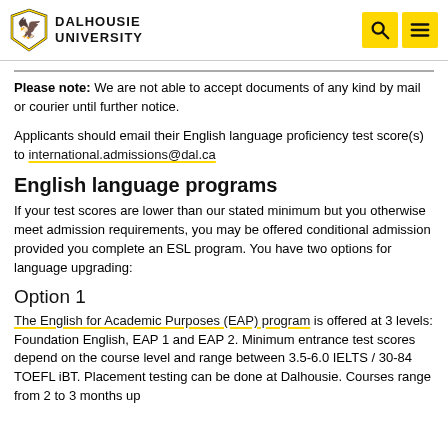DALHOUSIE UNIVERSITY
Please note: We are not able to accept documents of any kind by mail or courier until further notice.
Applicants should email their English language proficiency test score(s) to international.admissions@dal.ca
English language programs
If your test scores are lower than our stated minimum but you otherwise meet admission requirements, you may be offered conditional admission provided you complete an ESL program. You have two options for language upgrading:
Option 1
The English for Academic Purposes (EAP) program is offered at 3 levels: Foundation English, EAP 1 and EAP 2. Minimum entrance test scores depend on the course level and range between 3.5-6.0 IELTS / 30-84 TOEFL iBT. Placement testing can be done at Dalhousie. Courses range from 2 to 3 months up